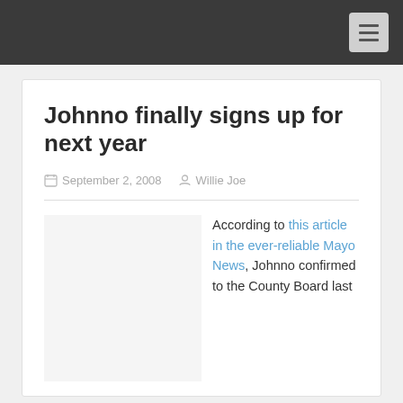≡
Johnno finally signs up for next year
September 2, 2008  Willie Joe
According to this article in the ever-reliable Mayo News, Johnno confirmed to the County Board last